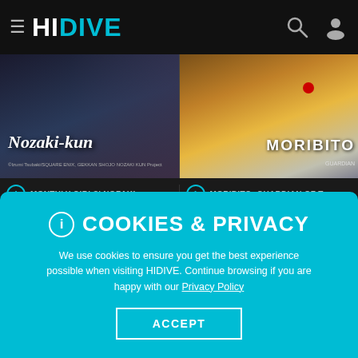≡ HIDIVE
[Figure (screenshot): Two anime show banner images side by side: left shows 'Nozaki-kun' with dark background and italic title text; right shows 'MORIBITO' with warm orange/gold gradient background and a red circular element]
ⓘ MONTHLY GIRLS' NOZAKI-...
ⓘ MORIBITO: GUARDIAN OF T...
ⓘ COOKIES & PRIVACY
We use cookies to ensure you get the best experience possible when visiting HIDIVE. Continue browsing if you are happy with our Privacy Policy
ACCEPT